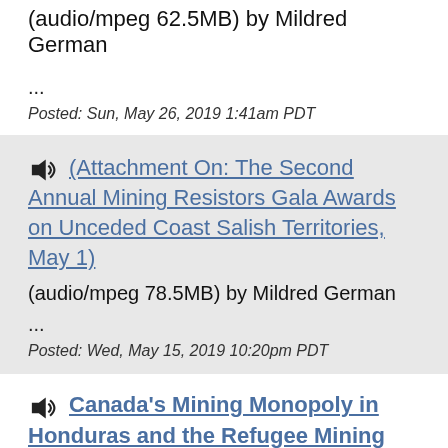(audio/mpeg 62.5MB) by Mildred German
...
Posted: Sun, May 26, 2019 1:41am PDT
(Attachment On: The Second Annual Mining Resistors Gala Awards on Unceded Coast Salish Territories, May 1)
(audio/mpeg 78.5MB) by Mildred German
...
Posted: Wed, May 15, 2019 10:20pm PDT
Canada's Mining Monopoly in Honduras and the Refugee Mining Caravan
(audio/mpeg 51.3MB) by Billie Pierre
This Refugee Migrant Caravan that began in